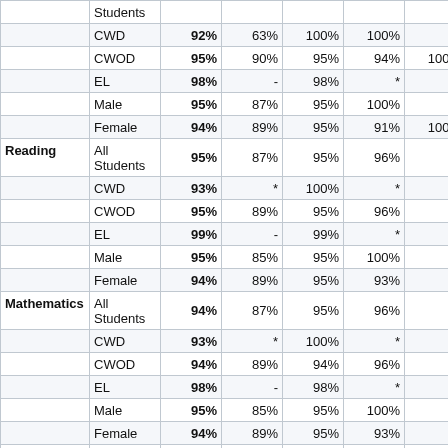| Subject | Group | Col1 | Col2 | Col3 | Col4 | Col5 | Col6 |
| --- | --- | --- | --- | --- | --- | --- | --- |
|  | Students |  |  |  |  |  |  |
|  | CWD | 92% | 63% | 100% | 100% | - | 29% |
|  | CWOD | 95% | 90% | 95% | 94% | 100% | 100% |
|  | EL | 98% | - | 98% | * | * | 100% |
|  | Male | 95% | 87% | 95% | 100% | * | 100% |
|  | Female | 94% | 89% | 95% | 91% | 100% | 79% |
| Reading | All Students | 95% | 87% | 95% | 96% | * | 93% |
|  | CWD | 93% | * | 100% | * | - | * |
|  | CWOD | 95% | 89% | 95% | 96% | * | 100% |
|  | EL | 99% | - | 99% | * | * | 100% |
|  | Male | 95% | 85% | 95% | 100% | * | 100% |
|  | Female | 94% | 89% | 95% | 93% | * | 80% |
| Mathematics | All Students | 94% | 87% | 95% | 96% | * | 93% |
|  | CWD | 93% | * | 100% | * | - | * |
|  | CWOD | 94% | 89% | 94% | 96% | * | 100% |
|  | EL | 98% | - | 98% | * | * | 100% |
|  | Male | 95% | 85% | 95% | 100% | * | 100% |
|  | Female | 94% | 89% | 95% | 93% | * | 80% |
| Science | All Students | 95% | 92% | 96% | 80% | * | 88% |
|  | CWD | 89% | * | 100% | * | - |  |